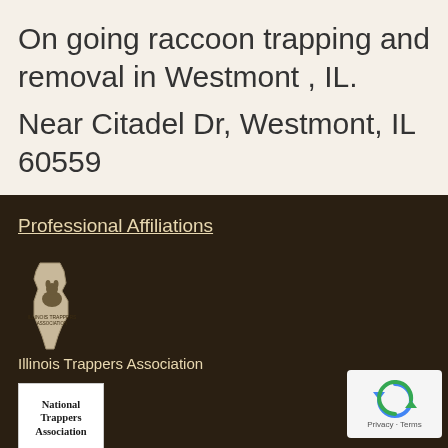On going raccoon trapping and removal in Westmont , IL.
Near Citadel Dr, Westmont, IL 60559
Professional Affiliations
[Figure (logo): Illinois Trappers Association logo — outline of Illinois state shape with a raccoon/animal emblem inside, on dark background]
Illinois Trappers Association
[Figure (logo): National Trappers Association logo — white box with bold serif text reading National Trappers Association]
National Trappers Association
[Figure (other): reCAPTCHA widget — white box with blue/grey circular arrow icon and Privacy · Terms text]